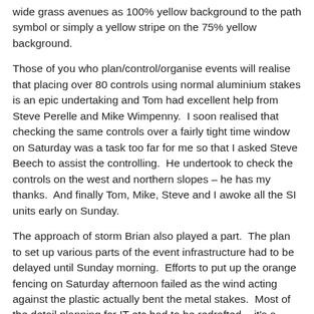wide grass avenues as 100% yellow background to the path symbol or simply a yellow stripe on the 75% yellow background.
Those of you who plan/control/organise events will realise that placing over 80 controls using normal aluminium stakes is an epic undertaking and Tom had excellent help from Steve Perelle and Mike Wimpenny.  I soon realised that checking the same controls over a fairly tight time window on Saturday was a task too far for me so that I asked Steve Beech to assist the controlling.  He undertook to check the controls on the west and northern slopes – he has my thanks.  And finally Tom, Mike, Steve and I awoke all the SI units early on Sunday.
The approach of storm Brian also played a part.  The plan to set up various parts of the event infrastructure had to be delayed until Sunday morning.  Efforts to put up the orange fencing on Saturday afternoon failed as the wind acting against the plastic actually bent the metal stakes.  Most of the detail planning for IT etc had to be redrafted  - it's a credit to that team that all went well. Without the input from members of both clubs early on Sunday morning the